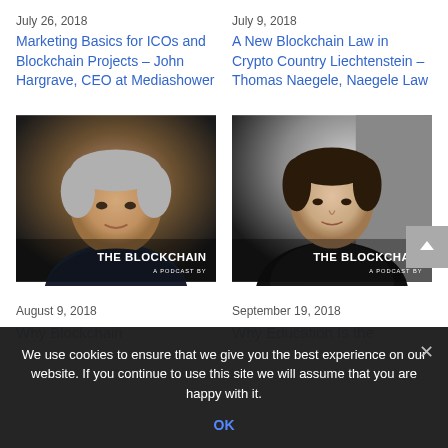July 26, 2018
Marketing Basics for ICOs and Blockchain Projects – John Hargrave, CEO at Mediashower
July 9, 2018
A New Blockchain Law in Crypto Country Liechtenstein – Thomas Naegele, Naegele Law
[Figure (photo): Headshot photo of a man with a blockchain podcast thumbnail overlay reading THE BLOCKCHAIN A PODCAST BY]
[Figure (photo): Headshot photo of a man in dark suit with a blockchain podcast thumbnail overlay reading THE BLOCKCHAIN A PODCAST BY]
August 9, 2018
Why Blockchain
September 19, 2018
Why Education Is the
We use cookies to ensure that we give you the best experience on our website. If you continue to use this site we will assume that you are happy with it.
OK